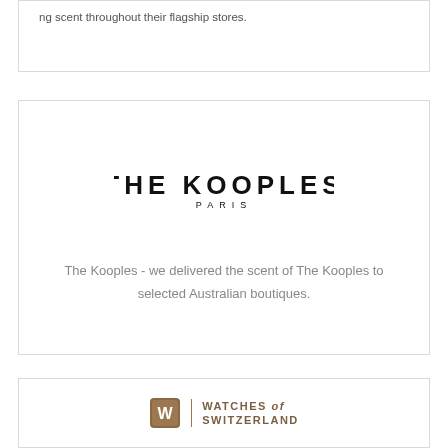ng scent throughout their flagship stores.
[Figure (logo): The Kooples Paris logo — bold sans-serif uppercase text 'THE KOOPLES' with 'PARIS' centered below in smaller spaced letters]
The Kooples - we delivered the scent of The Kooples to selected Australian boutiques.
[Figure (logo): Watches of Switzerland logo — brown square icon with stylized W and text 'WATCHES of SWITZERLAND' in brown uppercase letters]